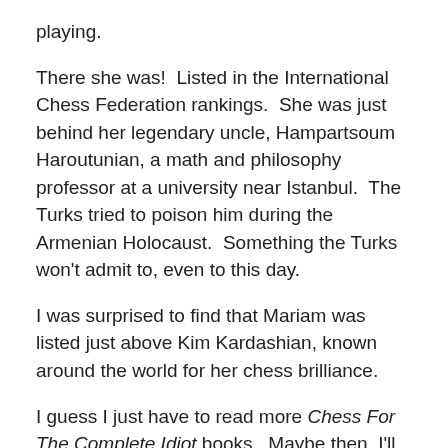playing.
There she was!  Listed in the International Chess Federation rankings.  She was just behind her legendary uncle, Hampartsoum Haroutunian, a math and philosophy professor at a university near Istanbul.  The Turks tried to poison him during the Armenian Holocaust.  Something the Turks won't admit to, even to this day.
I was surprised to find that Mariam was listed just above Kim Kardashian, known around the world for her chess brilliance.
I guess I just have to read more Chess For The Complete Idiot books.  Maybe then, I'll stand a ghost of a chance to check-mate her.